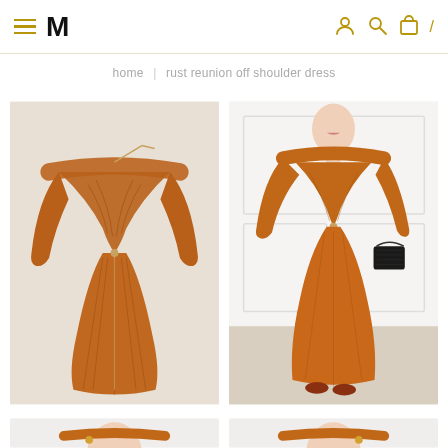M [hamburger menu] [user icon] [search icon] [cart icon] /
home | rust reunion off shoulder dress
[Figure (photo): Product flat-lay photo of a rust/brown off-shoulder dress with long sleeves and pleated skirt, displayed against a light beige background]
[Figure (photo): Model wearing a rust/terracotta off-shoulder long dress, holding a small black quilted clutch bag, standing against a white paneled wall]
[Figure (photo): Partial close-up photo of a model wearing the rust dress, cropped showing upper body]
[Figure (photo): Partial close-up photo of a model wearing the rust dress, cropped showing upper body from a different angle]